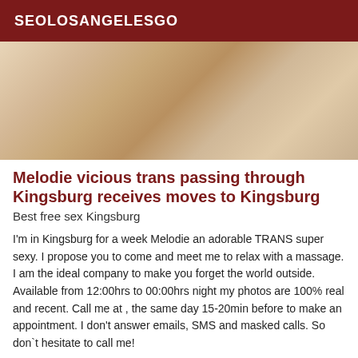SEOLOSANGELESGO
[Figure (photo): Close-up photo of a person's torso/skin, blurred and warm-toned]
Melodie vicious trans passing through Kingsburg receives moves to Kingsburg
Best free sex Kingsburg
I'm in Kingsburg for a week Melodie an adorable TRANS super sexy. I propose you to come and meet me to relax with a massage. I am the ideal company to make you forget the world outside. Available from 12:00hrs to 00:00hrs night my photos are 100% real and recent. Call me at , the same day 15-20min before to make an appointment. I don't answer emails, SMS and masked calls. So don`t hesitate to call me!